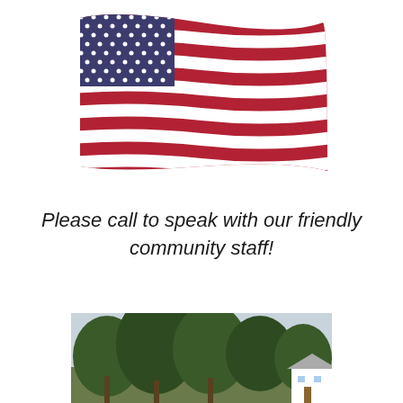[Figure (illustration): A waving American flag illustration showing red and white horizontal wavy stripes and a blue canton with white stars in the upper left corner.]
Please call to speak with our friendly community staff!
[Figure (photo): A photograph showing a row of large green trees with a small white house visible at the right edge, under an overcast sky.]